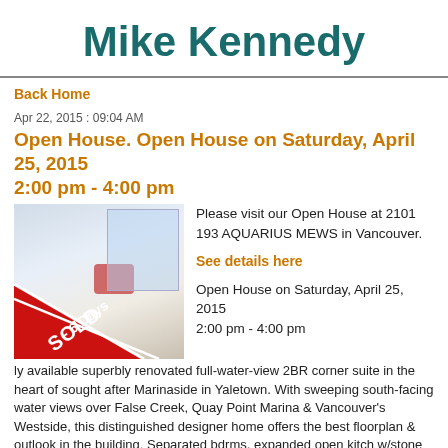Mike Kennedy
Back Home
Apr 22, 2015 : 09:04 AM
Open House. Open House on Saturday, April 25, 2015 2:00 pm - 4:00 pm
[Figure (photo): Interior photo of a luxury condo with a red chair and water views, overlaid with a red ribbon banner reading SOLD - 6 Days]
Please visit our Open House at 2101 193 AQUARIUS MEWS in Vancouver.

See details here

Open House on Saturday, April 25, 2015 2:00 pm - 4:00 pm
Only available superbly renovated full-water-view 2BR corner suite in the heart of sought after Marinaside in Yaletown. With sweeping south-facing water views over False Creek, Quay Point Marina & Vancouver's Westside, this distinguished designer home offers the best floorplan & outlook in the building. Separated bdrms, expanded open kitch w/stone counters,Viking gas range, Liebherr fridge & wine cooler, & Bosch D/W. Hrdwd flrs, Kohler/Blanco faucets + lrg sunny balc to enjoy a glass of wine & watch the boats go by. Lrg pool, hot tub, gym, lounge & concierge. The ultimate convenient location, right on the SeaWall & steps to UrbanFare, Canada Line & all restaurants, shops & amenities